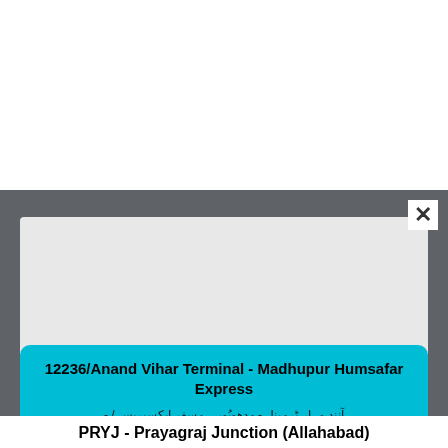[Figure (screenshot): Gray panel with light gray inner rectangle representing a UI modal or dialog area, with a close (×) button in top-right corner]
12236/Anand Vihar Terminal - Madhupur Humsafar Express
آنند وِہار ٹرمینل - مدھوپُور ہمسفر ایکسپریس (Urdu script rendering of train name)
PRYJ - Prayagraj Junction (Allahabad)